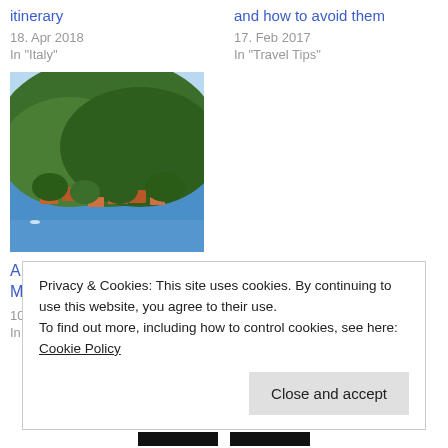itinerary
18. Apr 2018
In "Italy"
and how to avoid them
17. Feb 2017
In "Travel Tips"
[Figure (photo): Aerial view of a coastal hillside town with green hills, blue sea, and Mediterranean-style red-roofed buildings]
A Day Trip to Eze and Monaco from Nice by bus
10. Oct 2016
In "France"
Privacy & Cookies: This site uses cookies. By continuing to use this website, you agree to their use.
To find out more, including how to control cookies, see here: Cookie Policy
Close and accept